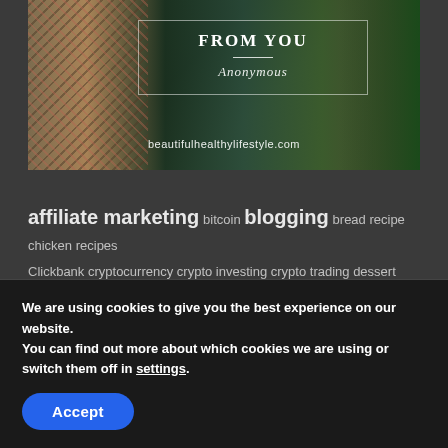[Figure (photo): Hero banner image with dark forest/Christmas background, person in knitted sweater on left, pine branches on right, a white-bordered text box overlay with bold uppercase text at top, 'Anonymous' in italic script, and website URL 'beautifulhealthylifestyle.com' below]
affiliate marketing bitcoin blogging bread recipe chicken recipes
Clickbank cryptocurrency crypto investing crypto trading dessert recipe diet pills
healthy
We are using cookies to give you the best experience on our website.
You can find out more about which cookies we are using or switch them off in settings.
Accept